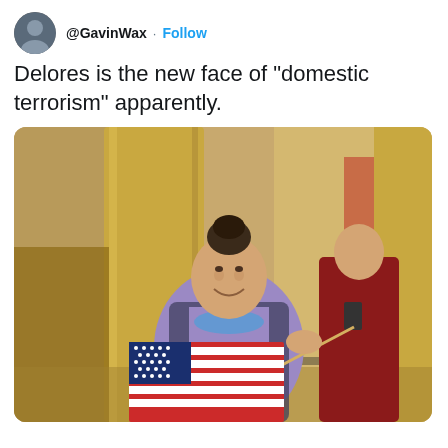@GavinWax · Follow
Delores is the new face of "domestic terrorism" apparently.
[Figure (photo): An elderly woman smiling inside what appears to be the US Capitol building, holding a small American flag. She is wearing a purple top with a blue mask pulled down around her neck and a dark jacket. Behind her is a large ornate golden column and another person in a dark red coat. The setting shows the Capitol interior with yellow/gold walls.]